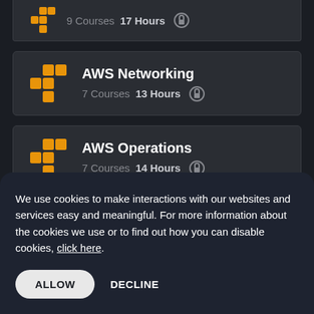[Figure (screenshot): Partial card showing 9 Courses 17 Hours with lock icon at top]
AWS Networking — 7 Courses  13 Hours
AWS Operations — 7 Courses  14 Hours
We use cookies to make interactions with our websites and services easy and meaningful. For more information about the cookies we use or to find out how you can disable cookies, click here.
ALLOW   DECLINE